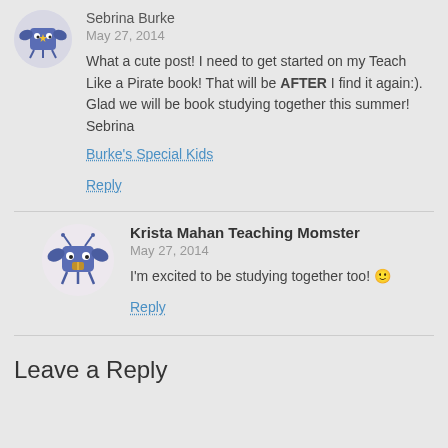Sebrina Burke
May 27, 2014
What a cute post! I need to get started on my Teach Like a Pirate book! That will be AFTER I find it again:). Glad we will be book studying together this summer! Sebrina
Burke's Special Kids
Reply
Krista Mahan Teaching Momster
May 27, 2014
I'm excited to be studying together too! 🙂
Reply
Leave a Reply